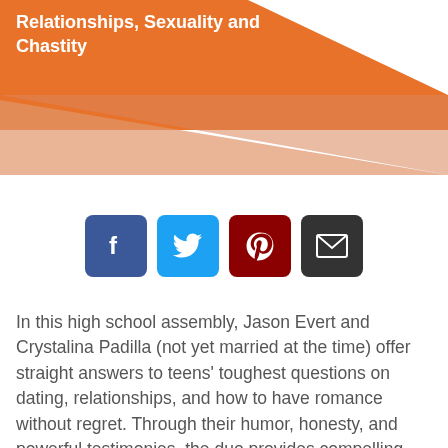Relationships, Sexuality and Chastity
[Figure (infographic): Four social media share buttons: Facebook (blue), Twitter (light blue), Pinterest (dark red), Email (dark gray)]
In this high school assembly, Jason Evert and Crystalina Padilla (not yet married at the time) offer straight answers to teens' toughest questions on dating, relationships, and how to have romance without regret. Through their humor, honesty, and powerful testimonies, the duo provides compelling reasons to pursue a life of purity, regardless of one's past.